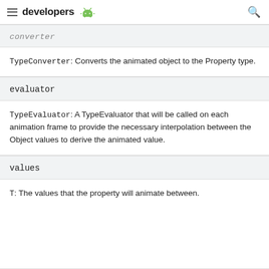developers [android logo]
converter
TypeConverter: Converts the animated object to the Property type.
evaluator
TypeEvaluator: A TypeEvaluator that will be called on each animation frame to provide the necessary interpolation between the Object values to derive the animated value.
values
T: The values that the property will animate between.